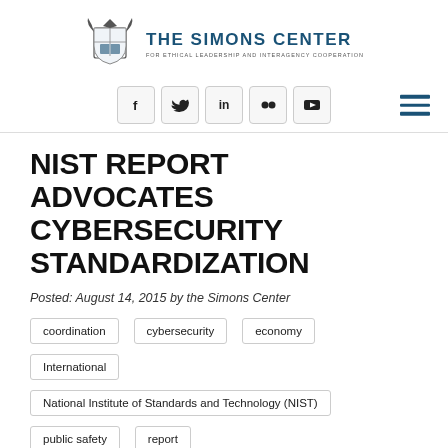THE SIMONS CENTER FOR ETHICAL LEADERSHIP AND INTERAGENCY COOPERATION
NIST REPORT ADVOCATES CYBERSECURITY STANDARDIZATION
Posted: August 14, 2015 by the Simons Center
coordination
cybersecurity
economy
International
National Institute of Standards and Technology (NIST)
public safety
report